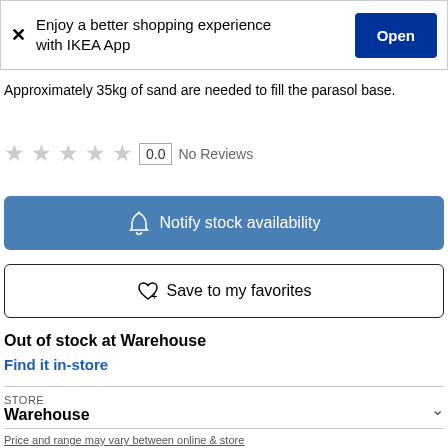[Figure (screenshot): App promotion banner: X close button, text 'Enjoy a better shopping experience with IKEA App', and blue 'Open' button]
Approximately 35kg of sand are needed to fill the parasol base.
★ ★ ★ ★ ★  0.0  No Reviews
Notify stock availability
Save to my favorites
Out of stock at Warehouse
Find it in-store
STORE
Warehouse
Price and range may vary between online & store